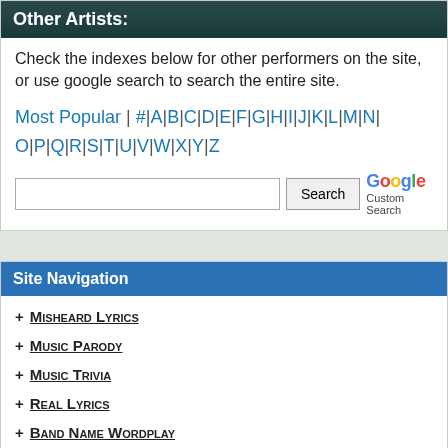Other Artists:
Check the indexes below for other performers on the site, or use google search to search the entire site.
Most Popular | # | A | B | C | D | E | F | G | H | I | J | K | L | M | N | O | P | Q | R | S | T | U | V | W | X | Y | Z
[Figure (other): Google Custom Search box with text input and Search button]
Site Navigation
+ Misheard Lyrics
+ Music Parody
+ Music Trivia
+ Real Lyrics
+ Band Name Wordplay
+ Song Name Wordplay